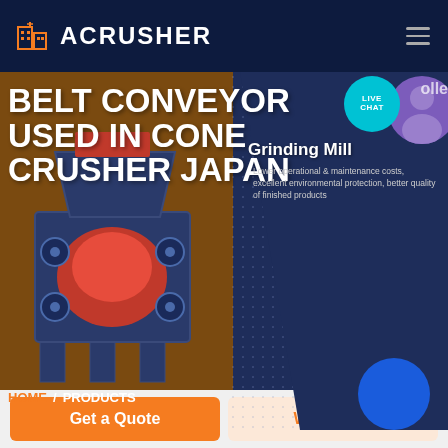ACRUSHER
BELT CONVEYOR USED IN CONE CRUSHER JAPAN
[Figure (screenshot): Website screenshot showing ACrusher company hero banner with a cone crusher machine image, live chat bubble, and right panel with grinding mill text and description]
Grinding Mill
Lower operational & maintenance costs, excellent environmental protection, better quality of finished products
LIVE CHAT
HOME  /  PRODUCTS
Get a Quote
WhatsApp